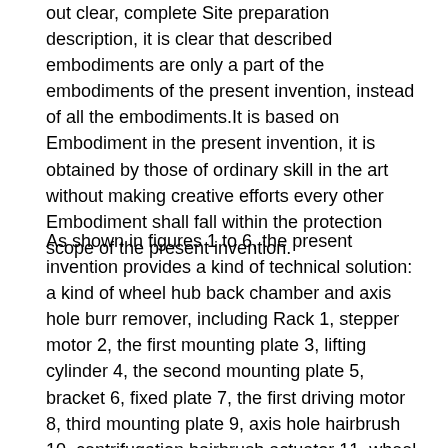out clear, complete Site preparation description, it is clear that described embodiments are only a part of the embodiments of the present invention, instead of all the embodiments.It is based on Embodiment in the present invention, it is obtained by those of ordinary skill in the art without making creative efforts every other Embodiment shall fall within the protection scope of the present invention.
As shown in figures 1 to 6, the present invention provides a kind of technical solution: a kind of wheel hub back chamber and axis hole burr remover, including Rack 1, stepper motor 2, the first mounting plate 3, lifting cylinder 4, the second mounting plate 5, bracket 6, fixed plate 7, the first driving motor 8, third mounting plate 9, axis hole hairbrush 10, centrifugation hairbrush actuator 11, wheel hub back chamber hairbrush 12, positioning clamping element 13 and control are set Standby 15, wherein the stepper motor 2 is fixedly installed in rack 1, and first mounting plate 3 is fixedly installed in stepper motor 2 On output shaft, the lifting cylinder 4 is fixedly installed on the first mounting plate 3, and second mounting plate 5 is fixedly installed in lifting one The pistons end of cylinder 4